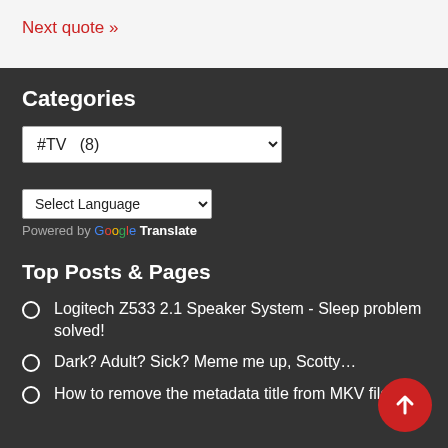Next quote »
Categories
#TV  (8)
Select Language
Powered by Google Translate
Top Posts & Pages
Logitech Z533 2.1 Speaker System - Sleep problem solved!
Dark? Adult? Sick? Meme me up, Scotty…
How to remove the metadata title from MKV files